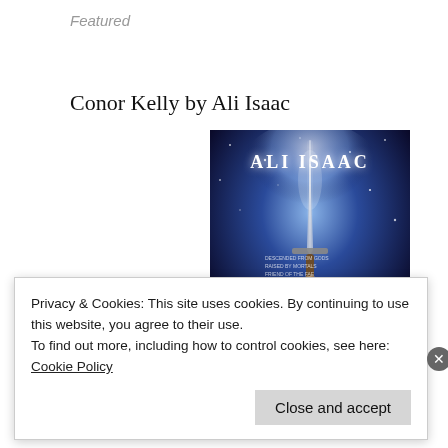Featured
Conor Kelly by Ali Isaac
[Figure (photo): Book cover for a novel by Ali Isaac. Dark blue/purple space-like background with a glowing sword held by a hand. Text reads 'ALI ISAAC' at the top and smaller text below.]
Privacy & Cookies: This site uses cookies. By continuing to use this website, you agree to their use.
To find out more, including how to control cookies, see here: Cookie Policy
Close and accept